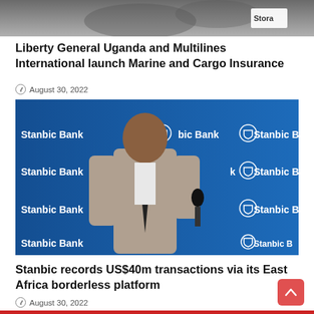[Figure (photo): Top portion of a photo showing people shaking hands at an event, with a 'Stora' branded item visible]
Liberty General Uganda and Multilines International launch Marine and Cargo Insurance
August 30, 2022
[Figure (photo): Man in a grey suit holding a microphone, standing in front of a Stanbic Bank backdrop with repeating logo]
Stanbic records US$40m transactions via its East Africa borderless platform
August 30, 2022